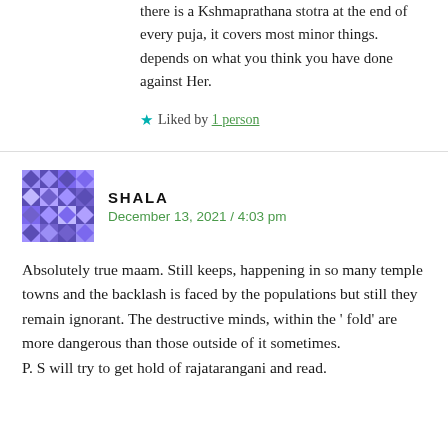there is a Kshmaprathana stotra at the end of every puja, it covers most minor things. depends on what you think you have done against Her.
★ Liked by 1 person
SHALA
December 13, 2021 / 4:03 pm
Absolutely true maam. Still keeps, happening in so many temple towns and the backlash is faced by the populations but still they remain ignorant. The destructive minds, within the ' fold' are more dangerous than those outside of it sometimes.
P. S will try to get hold of rajatarangani and read.